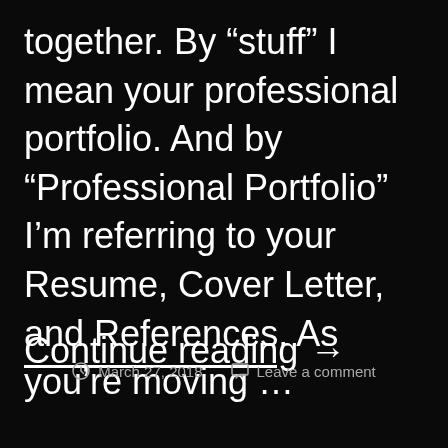together. By “stuff” I mean your professional portfolio. And by “Professional Portfolio” I’m referring to your Resume, Cover Letter, and References. As you’re moving …
Continue reading →
March 27, 2018   Leave a comment